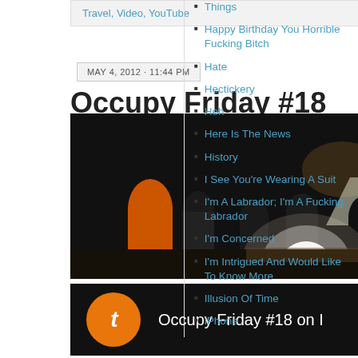Travel, Video, YouTube
MAY 4, 2012 · 11:44 PM
Occupy Friday #18
[Figure (photo): Night-time outdoor photo of people gathered at an Occupy protest, with glowing lights in background and a bright flash/light source in foreground]
[Figure (screenshot): Video thumbnail with orange circle 't' icon on left and white text reading 'Occupy Friday #18 on I' on dark background]
Things
Happy Birthday You Horrible Fucking Bitch
Hate
Hectickery
Heh
Here Is The News
History
I See You're Wearing A Suit
I'm A Labrador; I'm A Fucking Labrador
I'm Concerned
I'm Intrigued And Would Like To Know More
Illusion Of Time
iPhone